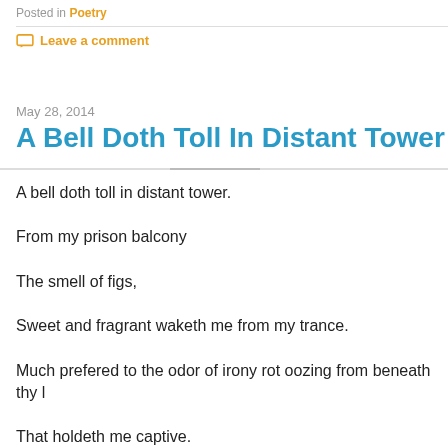Posted in Poetry
Leave a comment
May 28, 2014
A Bell Doth Toll In Distant Tower
A bell doth toll in distant tower.
From my prison balcony
The smell of figs,
Sweet and fragrant waketh me from my trance.
Much prefered to the odor of irony rot oozing from beneath thy l
That holdeth me captive.
Thy constant seeping maketh me nauseous.